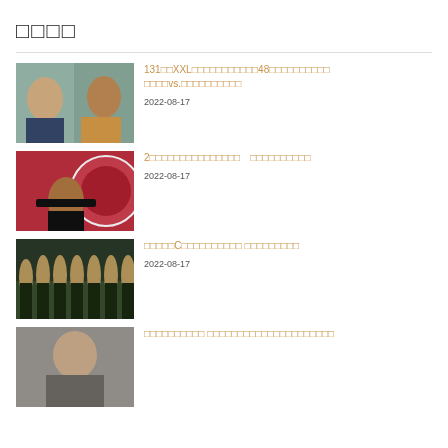□□□□
131□□XXL□□□□□□□□□□□48□□□□□□□□□□　□□□□vs.□□□□□□□□□□
2022-08-17
2□□□□□□□□□□□□□□□　□□□□□□□□□□
2022-08-17
□□□□□C□□□□□□□□□□ □□□□□□□□□
2022-08-17
□□□□□□□□□□ □□□□□□□□□□□□□□□□□□□□□